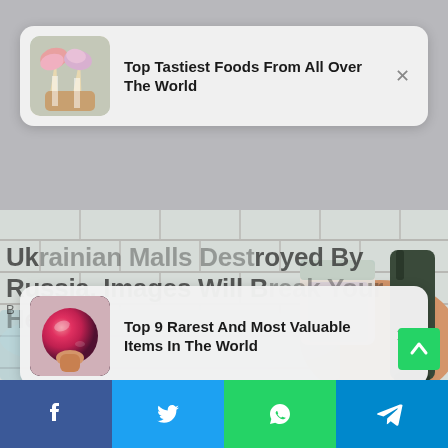[Figure (screenshot): Notification card 1: thumbnail of food cones on left, title 'Top Tastiest Foods From All Over The World', X close button]
Ukrainian Malls Destroyed By Russia, Images Will Break Your Heart
B...
[Figure (screenshot): Notification card 2: thumbnail of rare gemstone on left, title 'Top 9 Rarest And Most Valuable Items In The World', X close button]
[Figure (photo): Background photo of person in bath holding a jar of bath salts, with tile wall and soap pump bottle in background]
[Figure (infographic): Social share bar at bottom with Facebook, Twitter, WhatsApp, and Telegram buttons]